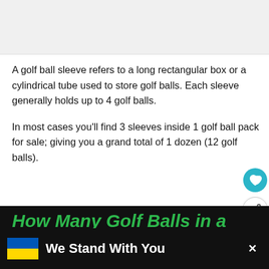[Figure (photo): Top image placeholder (article header image, partially visible)]
A golf ball sleeve refers to a long rectangular box or a cylindrical tube used to store golf balls. Each sleeve generally holds up to 4 golf balls.
In most cases you'll find 3 sleeves inside 1 golf ball pack for sale; giving you a grand total of 1 dozen (12 golf balls).
[Figure (infographic): Social sharing icons: heart (teal) and share (white with border)]
[Figure (photo): What's Next panel: thumbnail of golf balls on grass, label WHAT'S NEXT, title Golf Ball Size; Diameter,...]
How Many Golf Balls in a
[Figure (infographic): Ukraine support banner: blue and yellow flag with text We Stand With You and close X button]